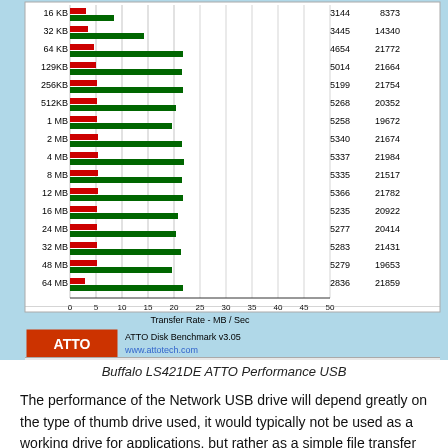[Figure (bar-chart): ATTO Disk Benchmark]
Buffalo LS421DE ATTO Performance USB
The performance of the Network USB drive will depend greatly on the type of thumb drive used, it would typically not be used as a working drive for applications, but rather as a simple file transfer device. Writes cap out at 5.3 MB/s and Reads at 22